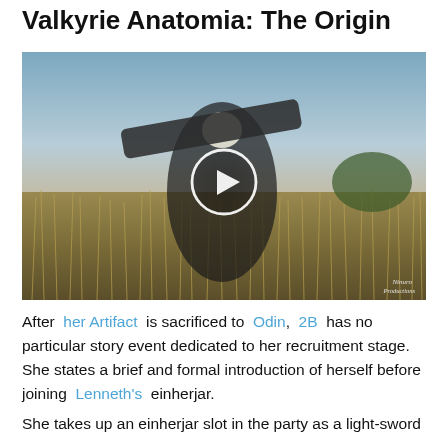Valkyrie Anatomia: The Origin
[Figure (photo): A cosplayer dressed as 2B from NieR: Automata, wearing black outfit with large sword prop, standing in a field of tall grass. A circular play button overlay is visible in the center of the image. Watermark reads 'Ninuro Productions' in bottom right.]
After her Artifact is sacrificed to Odin, 2B has no particular story event dedicated to her recruitment stage. She states a brief and formal introduction of herself before joining Lenneth's einherjar.
She takes up an einherjar slot in the party as a light-sword